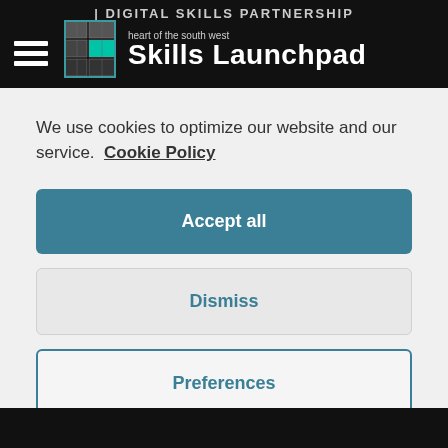[Figure (logo): Heart of the South West Skills Launchpad logo with Digital Skills Partnership banner on black header bar]
We use cookies to optimize our website and our service.  Cookie Policy
Accept all
Dismiss
Preferences